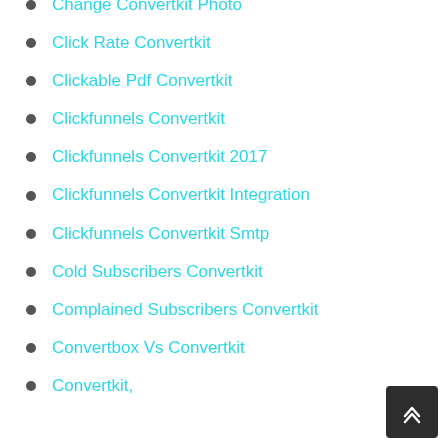Change Convertkit Photo
Click Rate Convertkit
Clickable Pdf Convertkit
Clickfunnels Convertkit
Clickfunnels Convertkit 2017
Clickfunnels Convertkit Integration
Clickfunnels Convertkit Smtp
Cold Subscribers Convertkit
Complained Subscribers Convertkit
Convertbox Vs Convertkit
Convertkit,